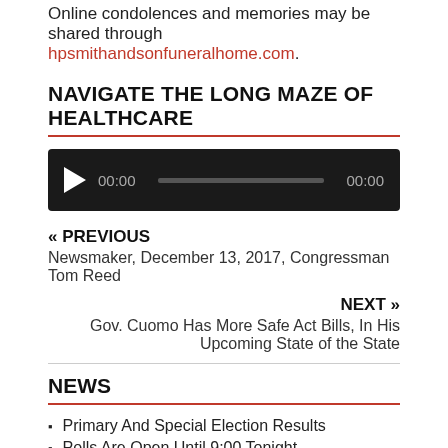Online condolences and memories may be shared through hpsmithandsonfuneralhome.com.
NAVIGATE THE LONG MAZE OF HEALTHCARE
[Figure (other): Audio player with play button, time display 00:00, progress bar, and end time 00:00 on a dark background]
« PREVIOUS
Newsmaker, December 13, 2017, Congressman Tom Reed
NEXT »
Gov. Cuomo Has More Safe Act Bills, In His Upcoming State of the State
NEWS
Primary And Special Election Results
Polls Are Open Until 9:00 Tonight